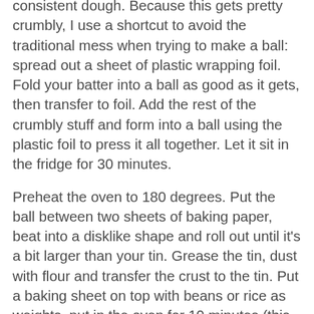consistent dough. Because this gets pretty crumbly, I use a shortcut to avoid the traditional mess when trying to make a ball: spread out a sheet of plastic wrapping foil. Fold your batter into a ball as good as it gets, then transfer to foil. Add the rest of the crumbly stuff and form into a ball using the plastic foil to press it all together. Let it sit in the fridge for 30 minutes.
Preheat the oven to 180 degrees. Put the ball between two sheets of baking paper, beat into a disklike shape and roll out until it's a bit larger than your tin. Grease the tin, dust with flour and transfer the crust to the tin. Put a baking sheet on top with beans or rice as weights, put in the oven for 10 minutes (this is called blind baking, it makes your crust crunchier). Remove the baking weight and brush egg white over the crust (this prevents your fluid batter from seeping into the crust later). Bake for 10 more minutes.
Meanwhile, dice the rhubarb and prepare the filling by mixing all the ingredients except the rhubarb in a bowl.